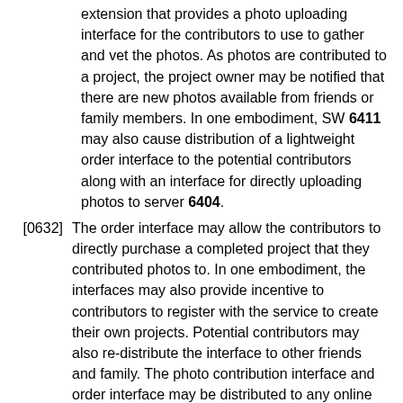extension that provides a photo uploading interface for the contributors to use to gather and vet the photos. As photos are contributed to a project, the project owner may be notified that there are new photos available from friends or family members. In one embodiment, SW 6411 may also cause distribution of a lightweight order interface to the potential contributors along with an interface for directly uploading photos to server 6404.
[0632] The order interface may allow the contributors to directly purchase a completed project that they contributed photos to. In one embodiment, the interfaces may also provide incentive to contributors to register with the service to create their own projects. Potential contributors may also re-distribute the interface to other friends and family. The photo contribution interface and order interface may be distributed to any online social interaction accounts owned by friends or family members instead of sending them directly to their end devices. In this case, the interface(s) may be downloaded and installed for use in photo